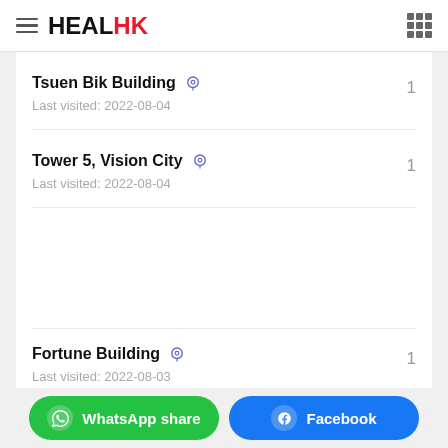HEALHK
Tsuen Bik Building — Last visited: 2022-08-04 — count: 1
Tower 5, Vision City — Last visited: 2022-08-04 — count: 1
Fortune Building — Last visited: 2022-08-03 — count: 1
WhatsApp share | Facebook